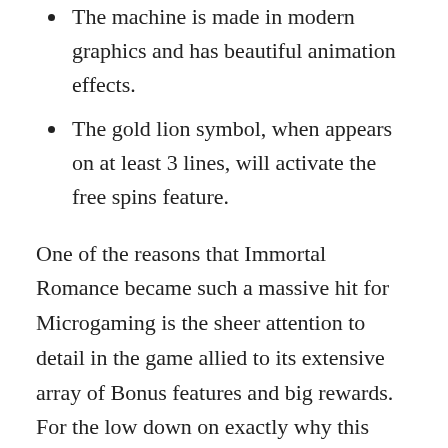The machine is made in modern graphics and has beautiful animation effects.
The gold lion symbol, when appears on at least 3 lines, will activate the free spins feature.
One of the reasons that Immortal Romance became such a massive hit for Microgaming is the sheer attention to detail in the game allied to its extensive array of Bonus features and big rewards. For the low down on exactly why this game remains one of the best out there, check out our full review below. The other symbols include the frequently-used playing cards, such as the 9, 10, Jack, Queen, King and Ace. Other symbols include Amber, Troy, Michael, Sarah, a library room, a scroll next to a c [up arrow] a view of the university building and a glass of red liquid, which can be blood. The Wild is the Immortal Romance